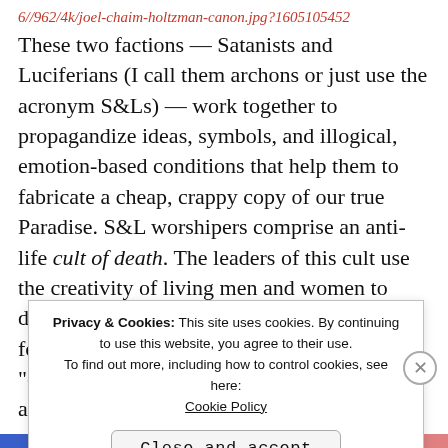6//962/4k/joel-chaim-holtzman-canon.jpg?1605105452
These two factions — Satanists and Luciferians (I call them archons or just use the acronym S&Ls) — work together to propagandize ideas, symbols, and illogical, emotion-based conditions that help them to fabricate a cheap, crappy copy of our true Paradise. S&L worshipers comprise an anti-life cult of death. The leaders of this cult use the creativity of living men and women to design mind programming and the machines for disseminating their programs: And we, "ordinary people," who are
[Figure (screenshot): Cookie consent popup overlay showing: 'Privacy & Cookies: This site uses cookies. By continuing to use this website, you agree to their use. To find out more, including how to control cookies, see here: Cookie Policy' with a 'Close and accept' button and an X close icon.]